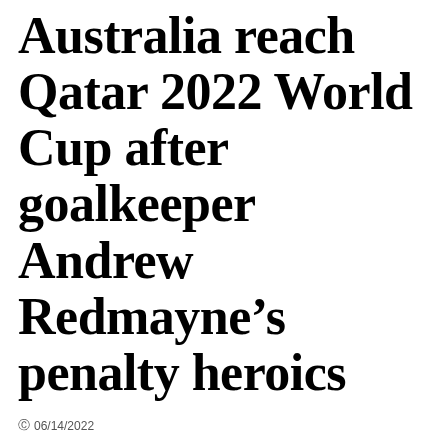Australia reach Qatar 2022 World Cup after goalkeeper Andrew Redmayne’s penalty heroics
© 06/14/2022